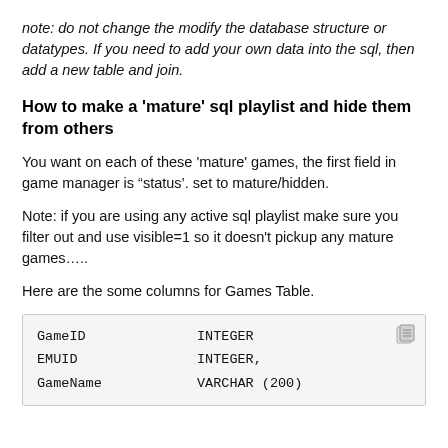note: do not change the modify the database structure or datatypes. If you need to add your own data into the sql, then add a new table and join.
How to make a 'mature' sql playlist and hide them from others
You want on each of these 'mature' games, the first field in game manager is “status’. set to mature/hidden.
Note: if you are using any active sql playlist make sure you filter out and use visible=1 so it doesn't pickup any mature games…..
Here are the some columns for Games Table.
| GameID | INTEGER |
| EMUID | INTEGER, |
| GameName | VARCHAR (200) |